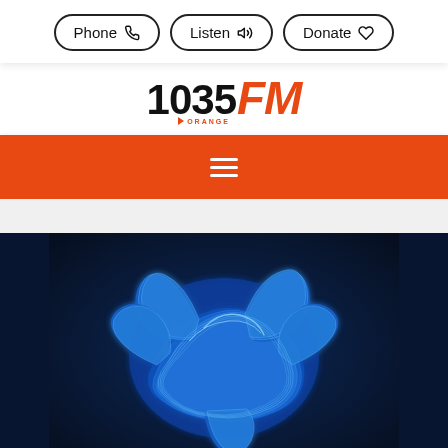Phone | Listen | Donate
[Figure (logo): 1035 FM Orange radio station logo with orange FM text and orange play triangle with ORANGE text below]
[Figure (infographic): Orange navigation bar with white hamburger menu icon (three horizontal lines)]
[Figure (photo): Abstract 3D blue sculptural shape with wave-like rippling layers on dark navy blue background]